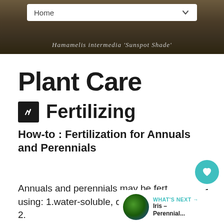[Figure (screenshot): Website header with navigation bar showing 'Home' dropdown and a dark botanical background image with italic cursive text 'Hamamelis intermedia Sunspot Shade']
Plant Care
Fertilizing
How-to : Fertilization for Annuals and Perennials
Annuals and perennials may be fertilized using: 1.water-soluble, quick release fertilizers; 2.